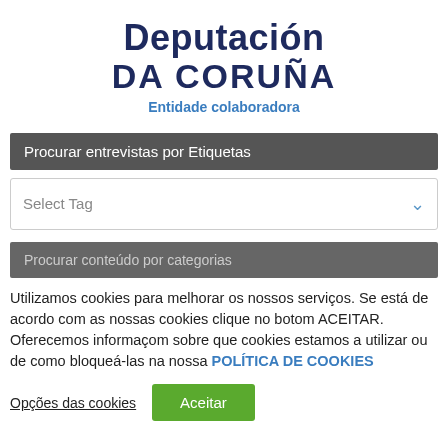Deputación DA CORUÑA
Entidade colaboradora
Procurar entrevistas por Etiquetas
Select Tag
Procurar conteúdo por categorias
Utilizamos cookies para melhorar os nossos serviços. Se está de acordo com as nossas cookies clique no botom ACEITAR. Oferecemos informaçom sobre que cookies estamos a utilizar ou de como bloqueá-las na nossa POLÍTICA DE COOKIES
Opções das cookies
Aceitar